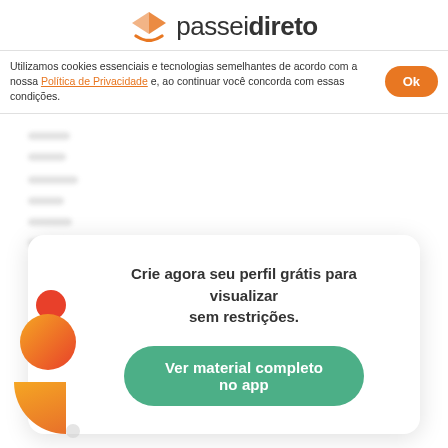passeidireto
Utilizamos cookies essenciais e tecnologias semelhantes de acordo com a nossa Política de Privacidade e, ao continuar você concorda com essas condições.
[Figure (other): Blurred/obscured document content area with greyed out text lines]
Crie agora seu perfil grátis para visualizar sem restrições.
Ver material completo no app